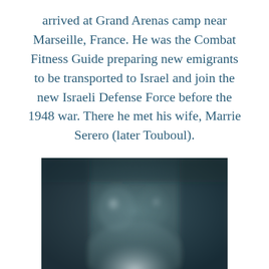arrived at Grand Arenas camp near Marseille, France. He was the Combat Fitness Guide preparing new emigrants to be transported to Israel and join the new Israeli Defense Force before the 1948 war. There he met his wife, Marrie Serero (later Touboul).
[Figure (photo): A blurry black-and-white photograph of two people, likely a couple, with a dark background. The image is soft-focus and partially cropped at the bottom.]